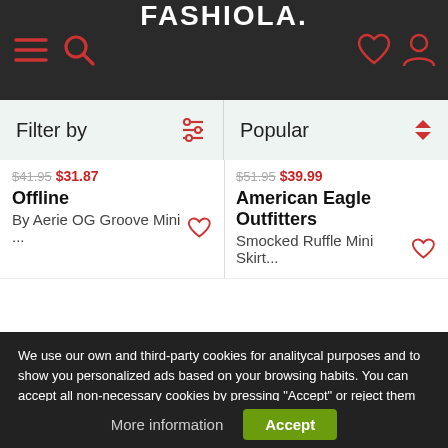FASHIOLA.
Filter by
Popular
Offline
By Aerie OG Groove Mini ...
American Eagle Outfitters
Smocked Ruffle Mini Skirt...
We use our own and third-party cookies for analitycal purposes and to show you personalized ads based on your browsing habits. You can accept all non-necessary cookies by pressing "Accept" or reject them not pressing it.
More information
Accept